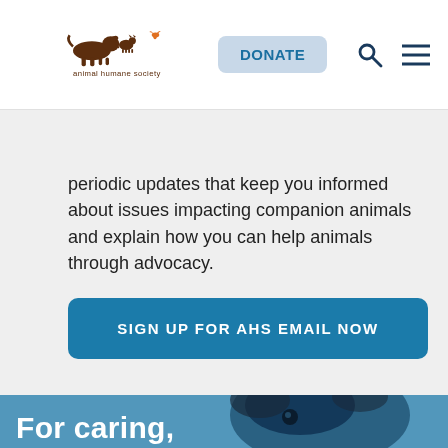[Figure (logo): Animal Humane Society logo with running animals silhouettes and text 'animal humane society']
DONATE
periodic updates that keep you informed about issues impacting companion animals and explain how you can help animals through advocacy.
SIGN UP FOR AHS EMAIL NOW
[Figure (photo): Blue-tinted photo of a puppy's face close up with trees/nature in background]
For caring,